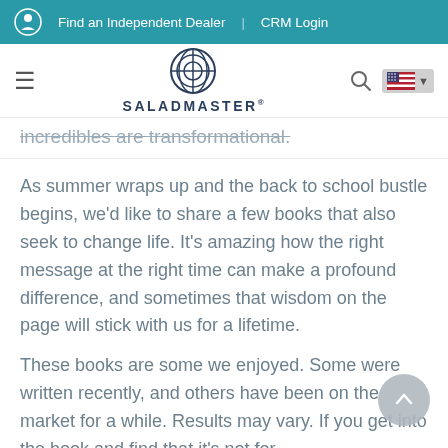Find an Independent Dealer   CRM Login
[Figure (logo): Saladmaster logo with circular geometric icon and brand name SALADMASTER]
incredibles are transformational.
As summer wraps up and the back to school bustle begins, we'd like to share a few books that also seek to change life. It's amazing how the right message at the right time can make a profound difference, and sometimes that wisdom on the page will stick with us for a lifetime.
These books are some we enjoyed. Some were written recently, and others have been on the market for a while. Results may vary. If you get into the book and find that it's not for